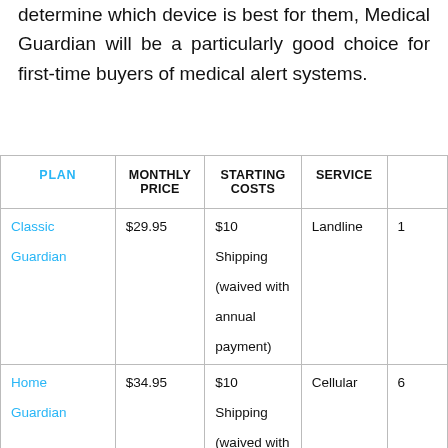determine which device is best for them, Medical Guardian will be a particularly good choice for first-time buyers of medical alert systems.
| PLAN | MONTHLY PRICE | STARTING COSTS | SERVICE |  |
| --- | --- | --- | --- | --- |
| Classic Guardian | $29.95 | $10 Shipping (waived with annual payment) | Landline | 1 |
| Home Guardian | $34.95 | $10 Shipping (waived with | Cellular | 6 |